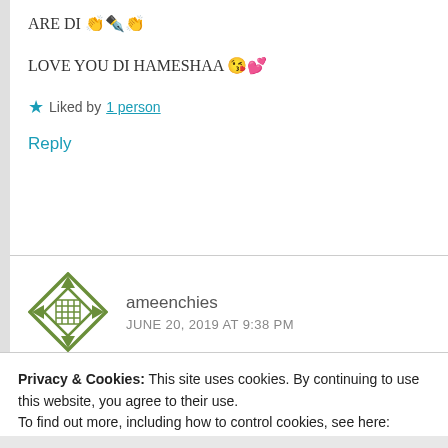ARE DI 👏✒️👏
LOVE YOU DI HAMESHAA 😘💕
★ Liked by 1 person
Reply
ameenchies
JUNE 20, 2019 AT 9:38 PM
Privacy & Cookies: This site uses cookies. By continuing to use this website, you agree to their use.
To find out more, including how to control cookies, see here: Cookie Policy
Close and accept